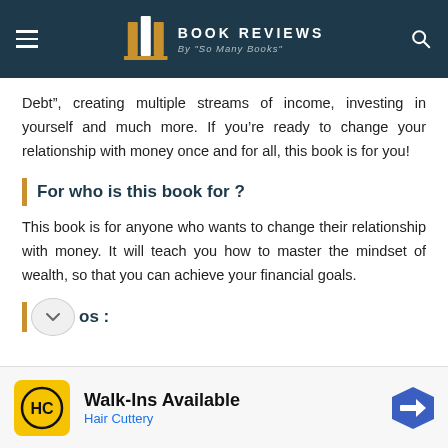BOOK REVIEWS By "So Many Books"
Debt", creating multiple streams of income, investing in yourself and much more. If you're ready to change your relationship with money once and for all, this book is for you!
For who is this book for ?
This book is for anyone who wants to change their relationship with money. It will teach you how to master the mindset of wealth, so that you can achieve your financial goals.
os :
Walk-Ins Available
Hair Cuttery